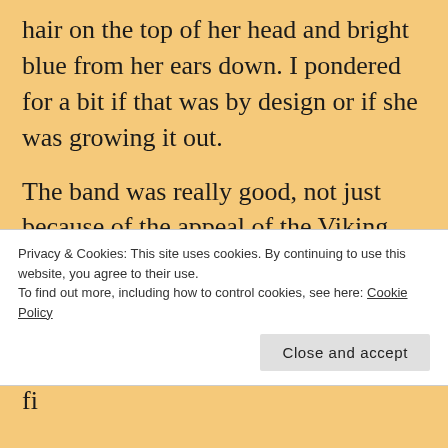hair on the top of her head and bright blue from her ears down. I pondered for a bit if that was by design or if she was growing it out.

The band was really good, not just because of the appeal of the Viking front man. The guitarist ran ris like nobody's business and the drummer was tight in sync
Privacy & Cookies: This site uses cookies. By continuing to use this website, you agree to their use.
To find out more, including how to control cookies, see here: Cookie Policy
Close and accept
fi...